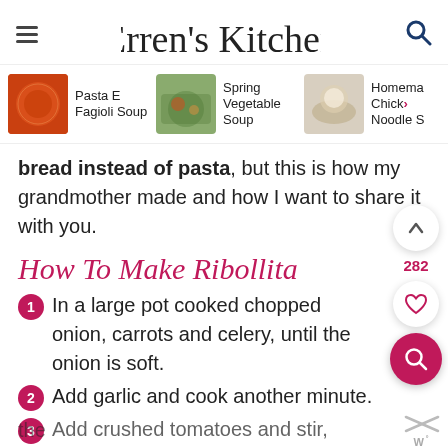Erren's Kitchen
[Figure (screenshot): Carousel of recipe thumbnails: Pasta E Fagioli Soup, Spring Vegetable Soup, Homemade Chicken Noodle Soup]
bread instead of pasta, but this is how my grandmother made and how I want to share it with you.
How To Make Ribollita
In a large pot cooked chopped onion, carrots and celery, until the onion is soft.
Add garlic and cook another minute.
Add crushed tomatoes and stir, cooking the...